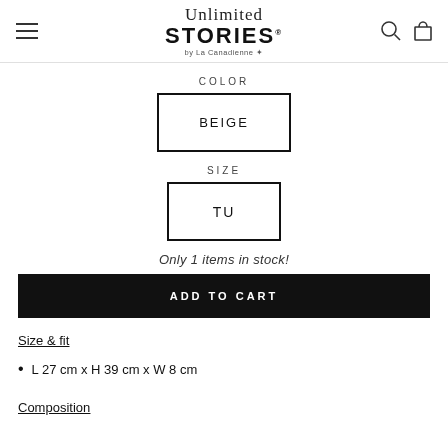Unlimited STORIES by La Canadienne
COLOR
BEIGE
SIZE
TU
Only 1 items in stock!
ADD TO CART
Size & fit
L 27 cm x H 39 cm x W 8 cm
Composition